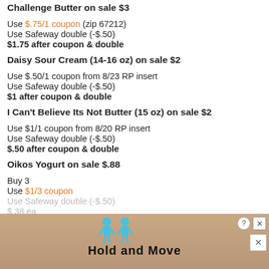Challenge Butter on sale $3
Use $.75/1 coupon (zip 67212)
Use Safeway double (-$.50)
$1.75 after coupon & double
Daisy Sour Cream (14-16 oz) on sale $2
Use $.50/1 coupon from 8/23 RP insert
Use Safeway double (-$.50)
$1 after coupon & double
I Can't Believe Its Not Butter (15 oz) on sale $2
Use $1/1 coupon from 8/20 RP insert
Use Safeway double (-$.50)
$.50 after coupon & double
Oikos Yogurt on sale $.88
Buy 3
Use $1/3 coupon
Use Safeway double (-$.50)
$.38 ea
[Figure (other): Advertisement overlay banner with 'Hold and Move' text and animated character icons, with close button]